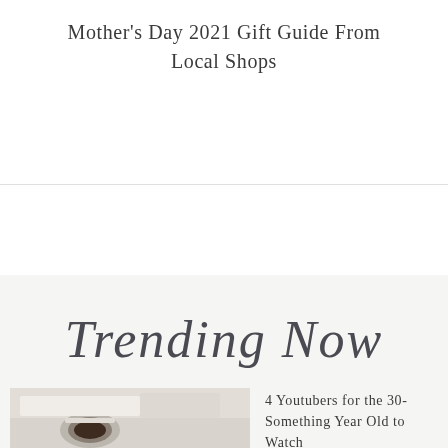Mother's Day 2021 Gift Guide From Local Shops
[Figure (illustration): Trending Now handwritten script text on light background]
[Figure (photo): Overhead shot of coffee cup and white linens on light background]
4 Youtubers for the 30-Something Year Old to Watch